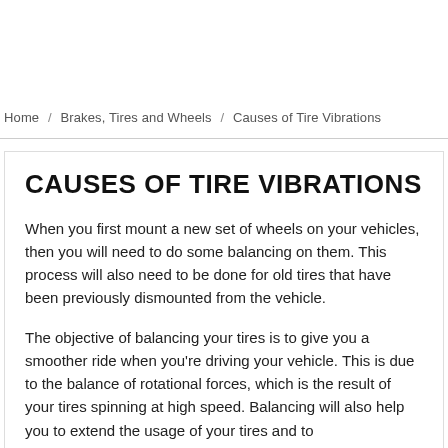Home / Brakes, Tires and Wheels / Causes of Tire Vibrations
CAUSES OF TIRE VIBRATIONS
When you first mount a new set of wheels on your vehicles, then you will need to do some balancing on them. This process will also need to be done for old tires that have been previously dismounted from the vehicle.
The objective of balancing your tires is to give you a smoother ride when you're driving your vehicle. This is due to the balance of rotational forces, which is the result of your tires spinning at high speed. Balancing will also help you to extend the usage of your tires and to keep your tires on the road.